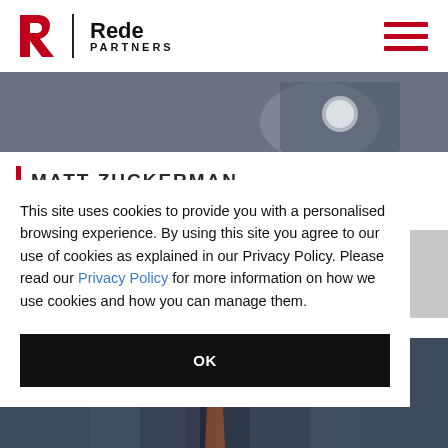Rede Partners
[Figure (photo): Photo strip showing a person in a suit with a watch, partially visible at the top]
MATT ZUCKERMAN
This site uses cookies to provide you with a personalised browsing experience. By using this site you agree to our use of cookies as explained in our Privacy Policy. Please read our Privacy Policy for more information on how we use cookies and how you can manage them.
OK
[Figure (photo): Bottom portion showing a person in a suit and tie]